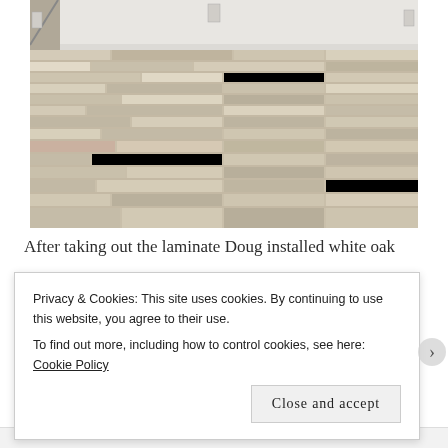[Figure (photo): Interior room with newly installed white oak hardwood flooring. The floor planks are light-colored wood in varying shades of cream and tan, installed diagonally. White walls and baseboards visible in background.]
After taking out the laminate Doug installed white oak
Privacy & Cookies: This site uses cookies. By continuing to use this website, you agree to their use.
To find out more, including how to control cookies, see here: Cookie Policy
Close and accept